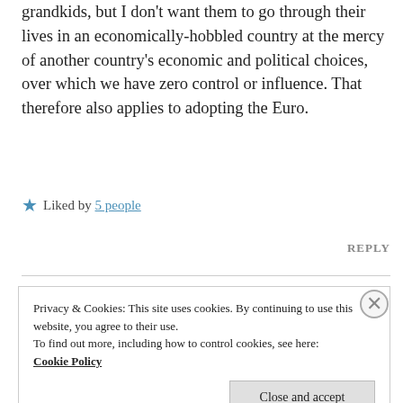grandkids, but I don't want them to go through their lives in an economically-hobbled country at the mercy of another country's economic and political choices, over which we have zero control or influence. That therefore also applies to adopting the Euro.
★ Liked by 5 people
REPLY
Privacy & Cookies: This site uses cookies. By continuing to use this website, you agree to their use.
To find out more, including how to control cookies, see here:
Cookie Policy
Close and accept